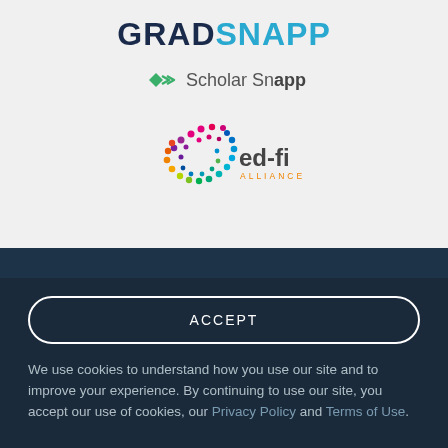[Figure (logo): GradSnapp logo text with GRAD in dark navy and SNAPP in blue]
[Figure (logo): Scholar Snapp logo with green arrow icons and text]
[Figure (logo): ed-fi Alliance logo with colorful dot spiral and text]
ACCEPT
We use cookies to understand how you use our site and to improve your experience. By continuing to use our site, you accept our use of cookies, our Privacy Policy and Terms of Use.